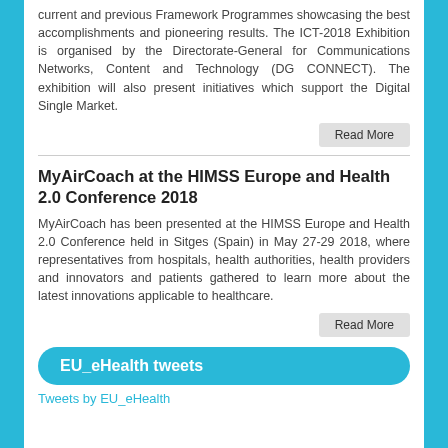current and previous Framework Programmes showcasing the best accomplishments and pioneering results. The ICT-2018 Exhibition is organised by the Directorate-General for Communications Networks, Content and Technology (DG CONNECT). The exhibition will also present initiatives which support the Digital Single Market.
Read More
MyAirCoach at the HIMSS Europe and Health 2.0 Conference 2018
MyAirCoach has been presented at the HIMSS Europe and Health 2.0 Conference held in Sitges (Spain) in May 27-29 2018, where representatives from hospitals, health authorities, health providers and innovators and patients gathered to learn more about the latest innovations applicable to healthcare.
Read More
EU_eHealth tweets
Tweets by EU_eHealth